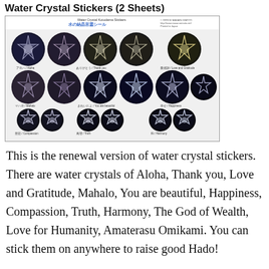Water Crystal Stickers (2 Sheets)
[Figure (photo): A sheet of water crystal stickers showing 12 circular water crystal photographs arranged in 4 rows of 3. Each circle shows a snowflake-like water crystal on a dark background. Labels include: アロハ/Aloha, ありがとう/Thank you, 愛感謝/Love and Gratitude, マハロ/Mahalo, きれいだよ/You are beautiful, 幸せ/Happiness, 慈悲/Compassion, 真理/Truth, 和/Harmony, 福の神/The God of Wealth, 人類愛/Love for Humanity, 天照大神/Amaterasu Omikami. Top of sheet reads Water Crystal Konodama Stickers / 水の結晶言霊シール.]
This is the renewal version of water crystal stickers. There are water crystals of Aloha, Thank you, Love and Gratitude, Mahalo, You are beautiful, Happiness, Compassion, Truth, Harmony, The God of Wealth, Love for Humanity, Amaterasu Omikami. You can stick them on anywhere to raise good Hado!